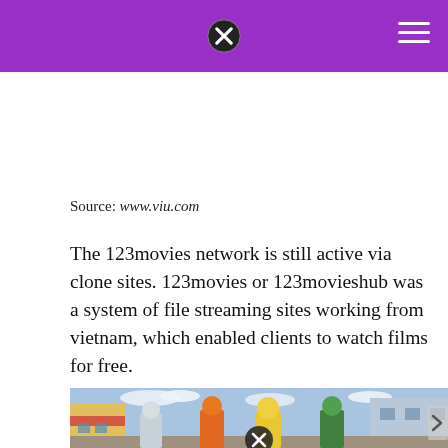Source: www.viu.com
The 123movies network is still active via clone sites. 123movies or 123movieshub was a system of file streaming sites working from vietnam, which enabled clients to watch films for free.
[Figure (illustration): Anime-style illustration showing characters walking on a European-style street with colorful buildings, featuring characters from My Hero Academia including Todoroki, Bakugo, and Midoriya.]